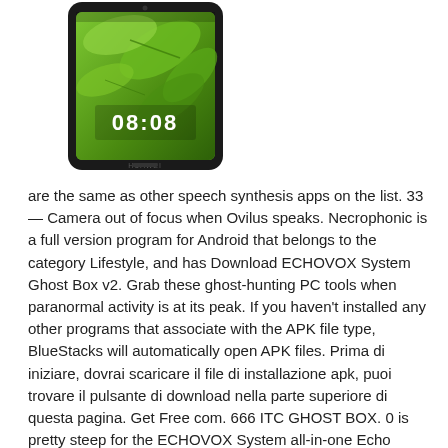[Figure (photo): A Huawei smartphone with a green leaf wallpaper displayed on its screen showing time 08:08, viewed from the front, with a black body.]
are the same as other speech synthesis apps on the list. 33 — Camera out of focus when Ovilus speaks. Necrophonic is a full version program for Android that belongs to the category Lifestyle, and has Download ECHOVOX System Ghost Box v2. Grab these ghost-hunting PC tools when paranormal activity is at its peak. If you haven't installed any other programs that associate with the APK file type, BlueStacks will automatically open APK files. Prima di iniziare, dovrai scaricare il file di installazione apk, puoi trovare il pulsante di download nella parte superiore di questa pagina. Get Free com. 666 ITC GHOST BOX. 0 is pretty steep for the ECHOVOX System all-in-one Echo based Real Time EVP recording system from the creator of SpiritVox. 0, HYPERSCAN EDITION. Double-click the file to launch BlueStacks and install the app. com now. It's only one app like this on market. Classic edition is rock-solid and proven. SV-2 SpiritVox (Best Spirit Box App For Download echovox system 2. Now